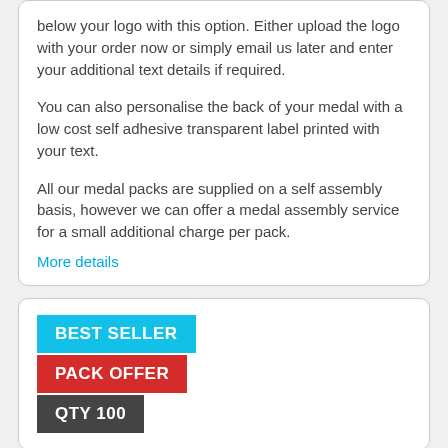below your logo with this option. Either upload the logo with your order now or simply email us later and enter your additional text details if required.
You can also personalise the back of your medal with a low cost self adhesive transparent label printed with your text.
All our medal packs are supplied on a self assembly basis, however we can offer a medal assembly service for a small additional charge per pack.
More details
BEST SELLER
PACK OFFER
QTY 100